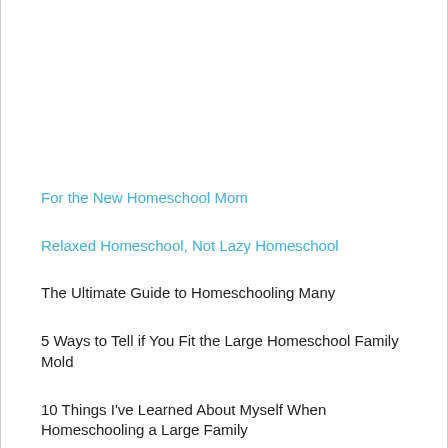For the New Homeschool Mom
Relaxed Homeschool, Not Lazy Homeschool
The Ultimate Guide to Homeschooling Many
5 Ways to Tell if You Fit the Large Homeschool Family Mold
10 Things I've Learned About Myself When Homeschooling a Large Family